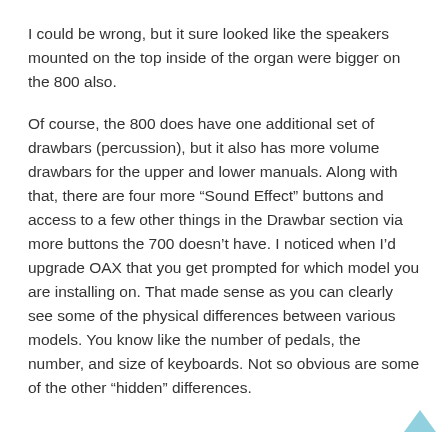I could be wrong, but it sure looked like the speakers mounted on the top inside of the organ were bigger on the 800 also.
Of course, the 800 does have one additional set of drawbars (percussion), but it also has more volume drawbars for the upper and lower manuals. Along with that, there are four more “Sound Effect” buttons and access to a few other things in the Drawbar section via more buttons the 700 doesn’t have. I noticed when I’d upgrade OAX that you get prompted for which model you are installing on. That made sense as you can clearly see some of the physical differences between various models. You know like the number of pedals, the number, and size of keyboards. Not so obvious are some of the other “hidden” differences.